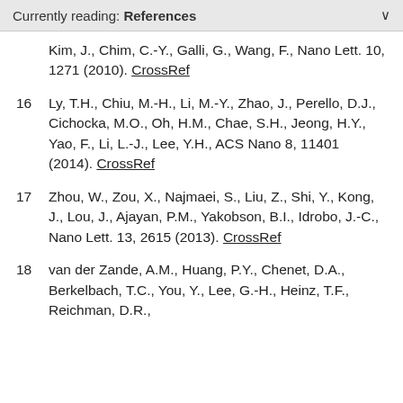Currently reading: References
Kim, J., Chim, C.-Y., Galli, G., Wang, F., Nano Lett. 10, 1271 (2010). CrossRef
16 Ly, T.H., Chiu, M.-H., Li, M.-Y., Zhao, J., Perello, D.J., Cichocka, M.O., Oh, H.M., Chae, S.H., Jeong, H.Y., Yao, F., Li, L.-J., Lee, Y.H., ACS Nano 8, 11401 (2014). CrossRef
17 Zhou, W., Zou, X., Najmaei, S., Liu, Z., Shi, Y., Kong, J., Lou, J., Ajayan, P.M., Yakobson, B.I., Idrobo, J.-C., Nano Lett. 13, 2615 (2013). CrossRef
18 van der Zande, A.M., Huang, P.Y., Chenet, D.A., Berkelbach, T.C., You, Y., Lee, G.-H., Heinz, T.F., Reichman, D.R.,